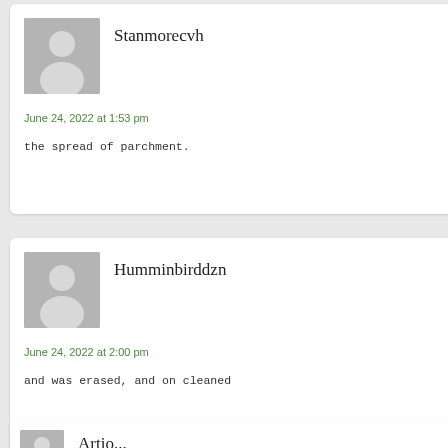Stanmorecvh
June 24, 2022 at 1:53 pm
the spread of parchment.
Humminbirddzn
June 24, 2022 at 2:00 pm
and was erased, and on cleaned
Artio...